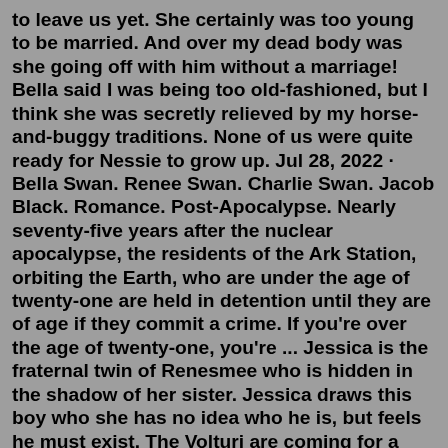to leave us yet. She certainly was too young to be married. And over my dead body was she going off with him without a marriage! Bella said I was being too old-fashioned, but I think she was secretly relieved by my horse-and-buggy traditions. None of us were quite ready for Nessie to grow up. Jul 28, 2022 · Bella Swan. Renee Swan. Charlie Swan. Jacob Black. Romance. Post-Apocalypse. Nearly seventy-five years after the nuclear apocalypse, the residents of the Ark Station, orbiting the Earth, who are under the age of twenty-one are held in detention until they are of age if they commit a crime. If you're over the age of twenty-one, you're ... Jessica is the fraternal twin of Renesmee who is hidden in the shadow of her sister. Jessica draws this boy who she has no idea who he is, but feels he must exist. The Volturi are coming for a check up on the special Cullen girls and don't intend on leaving empty-handed.Looking for fanfictions with Bella bashing and or cullen bashing. Can have anyone as center POV. can be m/f, m/m, f/f no romance or only doesn't have to be every...